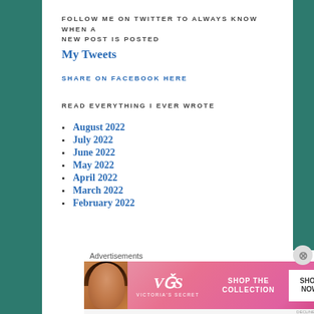FOLLOW ME ON TWITTER TO ALWAYS KNOW WHEN A NEW POST IS POSTED
My Tweets
SHARE ON FACEBOOK HERE
READ EVERYTHING I EVER WROTE
August 2022
July 2022
June 2022
May 2022
April 2022
March 2022
February 2022
Advertisements
[Figure (photo): Victoria's Secret advertisement banner with model, VS logo, 'SHOP THE COLLECTION' text and 'SHOP NOW' button]